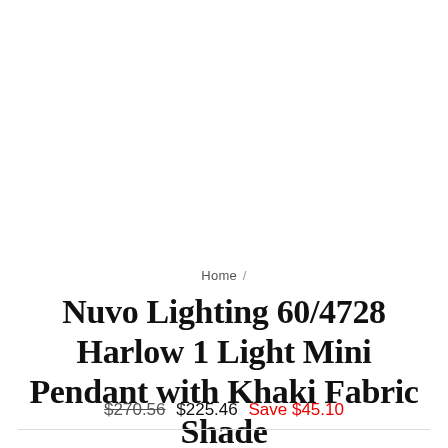Home /
Nuvo Lighting 60/4728 Harlow 1 Light Mini Pendant with Khaki Fabric Shade
$270.56  $225.46  Save $45.10